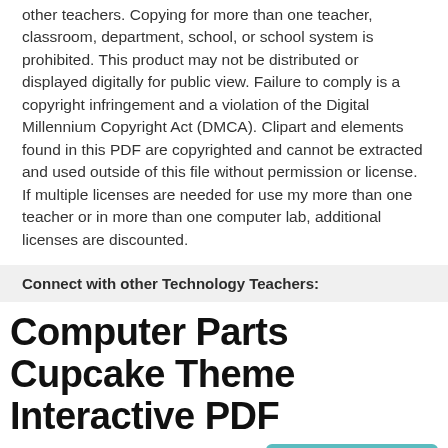other teachers. Copying for more than one teacher, classroom, department, school, or school system is prohibited. This product may not be distributed or displayed digitally for public view. Failure to comply is a copyright infringement and a violation of the Digital Millennium Copyright Act (DMCA). Clipart and elements found in this PDF are copyrighted and cannot be extracted and used outside of this file without permission or license. If multiple licenses are needed for use my more than one teacher or in more than one computer lab, additional licenses are discounted.
Connect with other Technology Teachers:
Computer Parts Cupcake Theme Interactive PDF
$3.00
Add to Cart